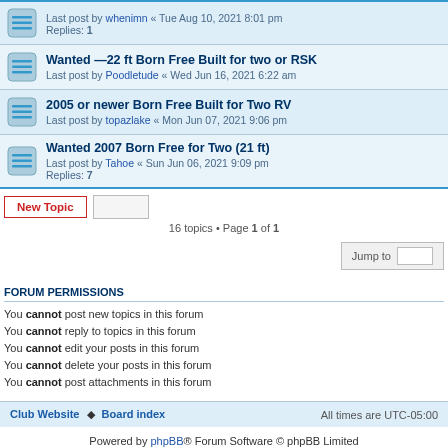Last post by whenimn « Tue Aug 10, 2021 8:01 pm
Replies: 1
Wanted —22 ft Born Free Built for two or RSK
Last post by Poodletude « Wed Jun 16, 2021 6:22 am
2005 or newer Born Free Built for Two RV
Last post by topazlake « Mon Jun 07, 2021 9:06 pm
Wanted 2007 Born Free for Two (21 ft)
Last post by Tahoe « Sun Jun 06, 2021 9:09 pm
Replies: 7
16 topics • Page 1 of 1
Jump to
FORUM PERMISSIONS
You cannot post new topics in this forum
You cannot reply to topics in this forum
You cannot edit your posts in this forum
You cannot delete your posts in this forum
You cannot post attachments in this forum
Club Website • Board index | All times are UTC-05:00
Powered by phpBB® Forum Software © phpBB Limited
Privacy | Terms